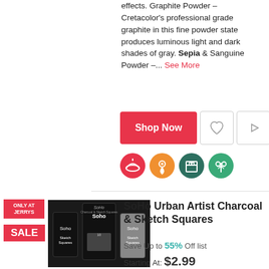effects. Graphite Powder - Cretacolor's professional grade graphite in this fine powder state produces luminous light and dark shades of gray. Sepia & Sanguine Powder -... See More
[Figure (screenshot): Shop Now button with heart and play icon buttons, plus four circular category icons below]
[Figure (photo): SoHo Urban Artist Charcoal & Sketch Squares product packaging showing multiple sizes, with Only At Jerrys and Sale badges]
SoHo Urban Artist Charcoal & Sketch Squares
Save Up to 55% Off list
Starting At: $2.99
...flat sides to shade large areas. Charcoal SoHo Sketch Squares are easy to manipulate and erase